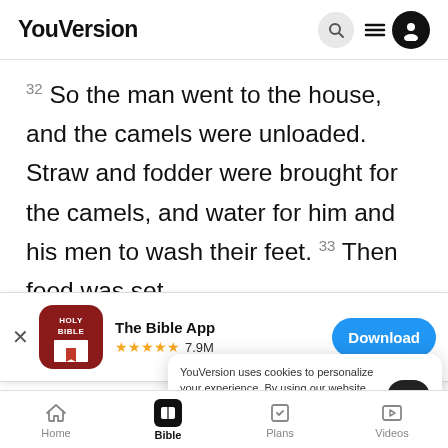YouVersion
32 So the man went to the house, and the camels were unloaded. Straw and fodder were brought for the camels, and water for him and his men to wash their feet. 33 Then food was set
[Figure (screenshot): The Bible App download banner with Holy Bible icon, star rating 4.9M 7.9M, and Download button]
34 So
LORD has blessed my master abundantly, and he
YouVersion uses cookies to personalize your experience. By using our website, you accept our use of cookies as described in our Privacy Policy.
Home  Bible  Plans  Videos